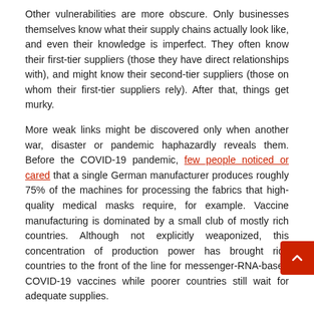Other vulnerabilities are more obscure. Only businesses themselves know what their supply chains actually look like, and even their knowledge is imperfect. They often know their first-tier suppliers (those they have direct relationships with), and might know their second-tier suppliers (those on whom their first-tier suppliers rely). After that, things get murky.
More weak links might be discovered only when another war, disaster or pandemic haphazardly reveals them. Before the COVID-19 pandemic, few people noticed or cared that a single German manufacturer produces roughly 75% of the machines for processing the fabrics that high-quality medical masks require, for example. Vaccine manufacturing is dominated by a small club of mostly rich countries. Although not explicitly weaponized, this concentration of production power has brought rich countries to the front of the line for messenger-RNA-based COVID-19 vaccines while poorer countries still wait for adequate supplies.
Dark money